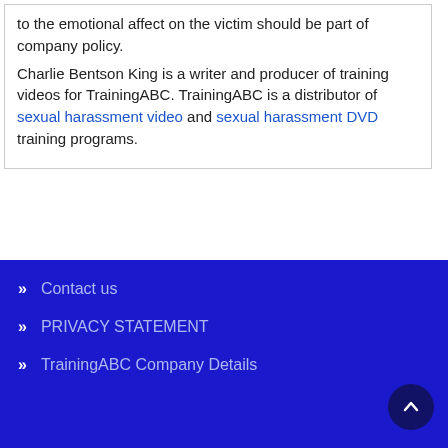to the emotional affect on the victim should be part of company policy. Charlie Bentson King is a writer and producer of training videos for TrainingABC. TrainingABC is a distributor of sexual harassment video and sexual harassment DVD training programs.
Comments on The Effects of Sexual Harassment
Contact us
PRIVACY STATEMENT
TrainingABC Company Details